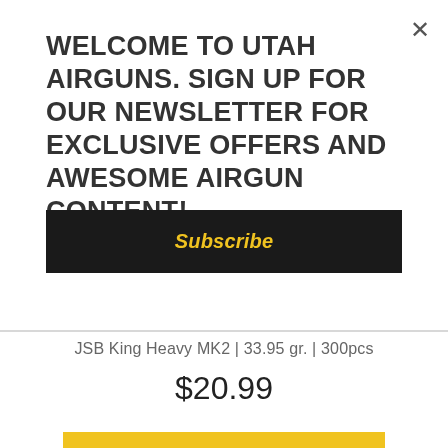×
WELCOME TO UTAH AIRGUNS. SIGN UP FOR OUR NEWSLETTER FOR EXCLUSIVE OFFERS AND AWESOME AIRGUN CONTENT!
Subscribe
JSB King Heavy MK2 | 33.95 gr. | 300pcs
$20.99
ADD TO BASKET